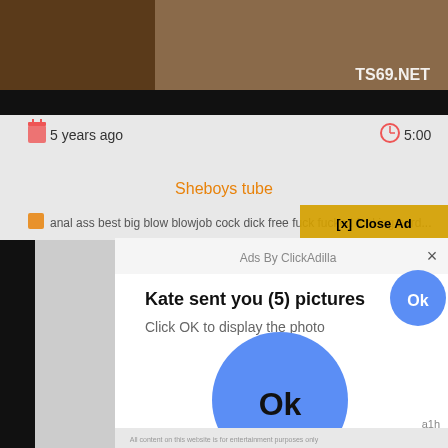[Figure (screenshot): Screenshot of a video website page showing a video thumbnail with 'TS69.NET' watermark, metadata showing '5 years ago' and duration '5:00', title 'Sheboys tube' in orange, tags including anal, ass, best, big, blow, blowjob, cock, dick, free, fuck, fucked, fucking, hard..., a '[x] Close Ad' button, and an overlaid advertisement popup from ClickAdilla showing 'Kate sent you (5) pictures' with 'Click OK to display the photo' text, an Ok button (small blue circle top right), a large blue circle with 'Ok' text in center, and 'a1h' text bottom right of popup.]